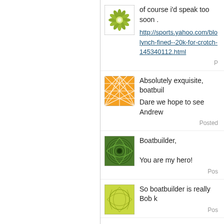[Figure (illustration): Green flower/mandala pattern avatar icon]
of course i'd speak too soon .
http://sports.yahoo.com/blo lynch-fined--20k-for-crotch- 145340112.html
P
[Figure (illustration): Orange geometric line pattern avatar icon]
Absolutely exquisite, boatbuil
Dare we hope to see Andrew
Posted
[Figure (illustration): Dark green swirl/spiral pattern avatar icon]
Boatbuilder,

You are my hero!
Pos
[Figure (illustration): Light yellow-green geometric fan/leaf pattern avatar icon]
So boatbuilder is really Bob k
Pos
P r i v a t e
C o l l e c t i o n
Peter Bocking - PUK, RIP
Jules Crittenden
Free Will